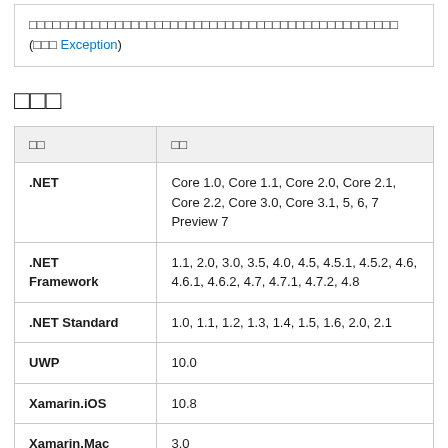□□□□□□□□□□□□□□□□□□□□□□□□□□□□□□□□□□□□□□□□□□□□□□□ (□□□ Exception)
□□□
| □□ | □□ |
| --- | --- |
| .NET | Core 1.0, Core 1.1, Core 2.0, Core 2.1, Core 2.2, Core 3.0, Core 3.1, 5, 6, 7 Preview 7 |
| .NET Framework | 1.1, 2.0, 3.0, 3.5, 4.0, 4.5, 4.5.1, 4.5.2, 4.6, 4.6.1, 4.6.2, 4.7, 4.7.1, 4.7.2, 4.8 |
| .NET Standard | 1.0, 1.1, 1.2, 1.3, 1.4, 1.5, 1.6, 2.0, 2.1 |
| UWP | 10.0 |
| Xamarin.iOS | 10.8 |
| Xamarin.Mac | 3.0 |